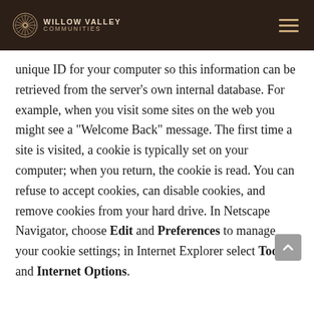Willow Valley Communities
unique ID for your computer so this information can be retrieved from the server's own internal database. For example, when you visit some sites on the web you might see a "Welcome Back" message. The first time a site is visited, a cookie is typically set on your computer; when you return, the cookie is read. You can refuse to accept cookies, can disable cookies, and remove cookies from your hard drive. In Netscape Navigator, choose Edit and Preferences to manage your cookie settings; in Internet Explorer select Tools and Internet Options.